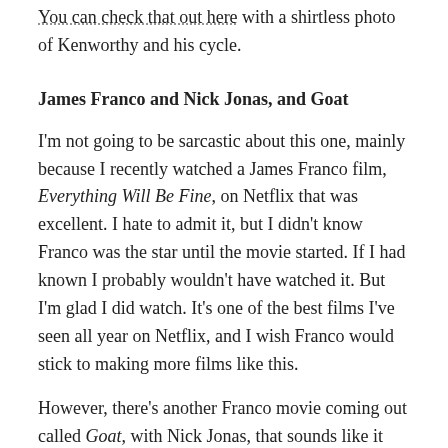You can check that out here with a shirtless photo of Kenworthy and his cycle.
James Franco and Nick Jonas, and Goat
I'm not going to be sarcastic about this one, mainly because I recently watched a James Franco film, Everything Will Be Fine, on Netflix that was excellent. I hate to admit it, but I didn't know Franco was the star until the movie started. If I had known I probably wouldn't have watched it. But I'm glad I did watch. It's one of the best films I've seen all year on Netflix, and I wish Franco would stick to making more films like this.
However, there's another Franco movie coming out called Goat, with Nick Jonas, that sounds like it could be questionable. I'm not sure.